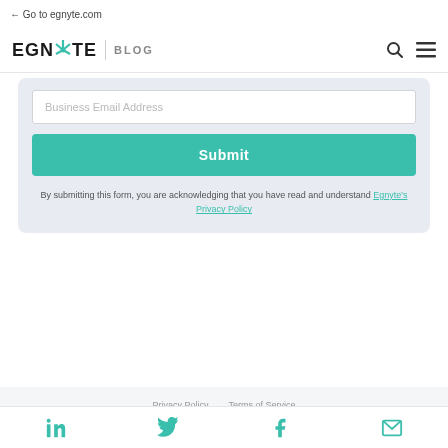← Go to egnyte.com
[Figure (logo): Egnyte logo with teal star/asterisk symbol, vertical divider, and BLOG text. Search and hamburger menu icons on right.]
Business Email Address
Submit
By submitting this form, you are acknowledging that you have read and understand Egnyte's Privacy Policy
Privacy Policy   Terms of Service   Compliance   Site Map
[Figure (illustration): Social media icons: LinkedIn, Twitter, Facebook, Email — in teal color]